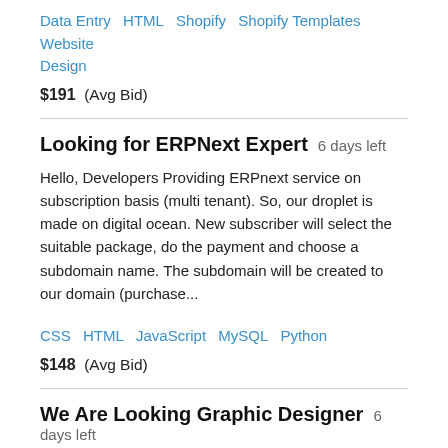Data Entry  HTML  Shopify  Shopify Templates  Website Design
$191  (Avg Bid)
Looking for ERPNext Expert  6 days left
Hello, Developers Providing ERPnext service on subscription basis (multi tenant). So, our droplet is made on digital ocean. New subscriber will select the suitable package, do the payment and choose a subdomain name. The subdomain will be created to our domain (purchase...
CSS  HTML  JavaScript  MySQL  Python
$148  (Avg Bid)
We Are Looking Graphic Designer  6 days left
VERIFIED